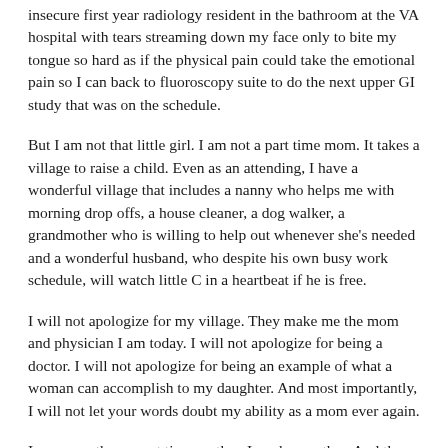insecure first year radiology resident in the bathroom at the VA hospital with tears streaming down my face only to bite my tongue so hard as if the physical pain could take the emotional pain so I can back to fluoroscopy suite to do the next upper GI study that was on the schedule.
But I am not that little girl. I am not a part time mom. It takes a village to raise a child. Even as an attending, I have a wonderful village that includes a nanny who helps me with morning drop offs, a house cleaner, a dog walker, a grandmother who is willing to help out whenever she's needed and a wonderful husband, who despite his own busy work schedule, will watch little C in a heartbeat if he is free.
I will not apologize for my village. They make me the mom and physician I am today. I will not apologize for being a doctor. I will not apologize for being an example of what a woman can accomplish to my daughter. And most importantly, I will not let your words doubt my ability as a mom ever again.
I am more than a part time mother. I am her mother. And the only opinion that should matter is hers. And tonight before bed, I asked